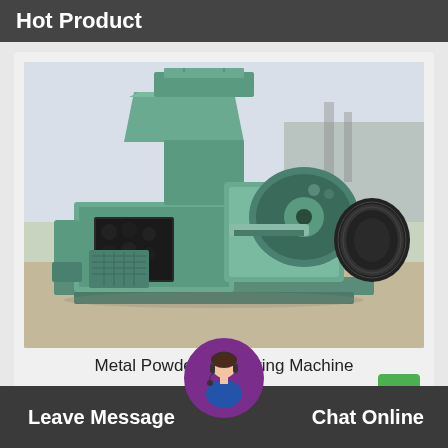Hot Product
[Figure (photo): Industrial Metal Powder Briquetting Machine painted teal/green, showing hopper on top, press rollers, and motor/pulley assembly, photographed outdoors]
Metal Powder Briquetting Machine
Leave Message   Chat Online